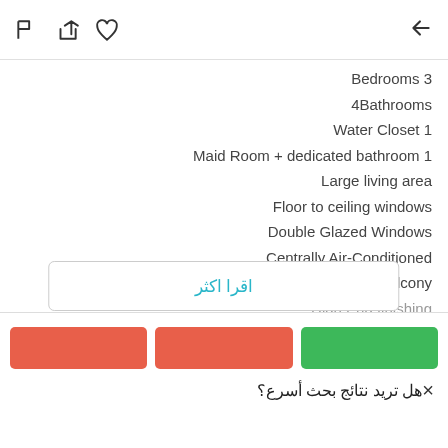flag, share, heart icons | back arrow
Bedrooms 3
4Bathrooms
Water Closet 1
Maid Room + dedicated bathroom 1
Large living area
Floor to ceiling windows
Double Glazed Windows
Centrally Air-Conditioned
Wide Balcony
High End finishing
اقرا اكثر
هل تريد نتائج بحث أسرع؟